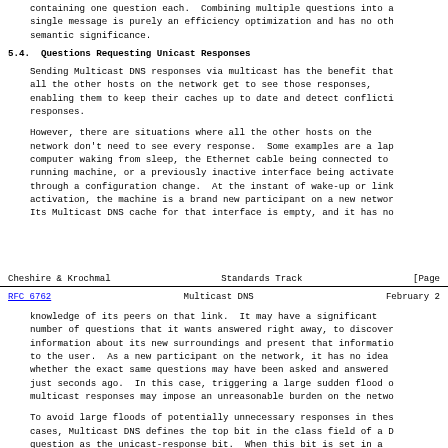containing one question each.  Combining multiple questions into a single message is purely an efficiency optimization and has no other semantic significance.
5.4.  Questions Requesting Unicast Responses
Sending Multicast DNS responses via multicast has the benefit that all the other hosts on the network get to see those responses, enabling them to keep their caches up to date and detect conflicting responses.
However, there are situations where all the other hosts on the network don't need to see every response.  Some examples are a laptop computer waking from sleep, the Ethernet cable being connected to a running machine, or a previously inactive interface being activated through a configuration change.  At the instant of wake-up or link-activation, the machine is a brand new participant on a new network. Its Multicast DNS cache for that interface is empty, and it has no
Cheshire & Krochmal          Standards Track                    [Page
RFC 6762                    Multicast DNS                  February 2
knowledge of its peers on that link.  It may have a significant number of questions that it wants answered right away, to discover information about its new surroundings and present that information to the user.  As a new participant on the network, it has no idea whether the exact same questions may have been asked and answered just seconds ago.  In this case, triggering a large sudden flood of multicast responses may impose an unreasonable burden on the network.
To avoid large floods of potentially unnecessary responses in these cases, Multicast DNS defines the top bit in the class field of a DNS question as the unicast-response bit.  When this bit is set in a question, it indicates that the querier is willing to accept unico